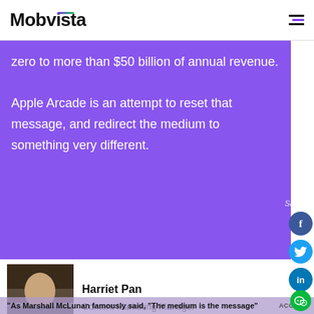Mobvista
zero to more than $50 billion of annual revenue. Apple Arcade is an attempt to reset that message, and redirect the medium to something very different.
Share
[Figure (illustration): Author headshot photo of Harriet Pan]
Harriet Pan
Content Marketing Manager
As Marshall McLunan famously said, "The medium is the message"